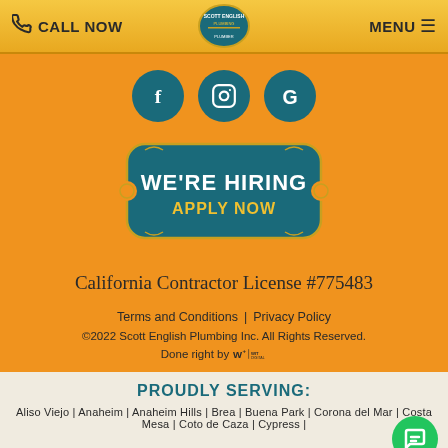CALL NOW | Scott English Plumbing | MENU
[Figure (logo): Three social media icons: Facebook (f), Instagram (camera), Google (G) in teal circles on orange background]
[Figure (illustration): We're Hiring - Apply Now badge in teal with gold border on orange background]
California Contractor License #775483
Terms and Conditions | Privacy Policy
©2022 Scott English Plumbing Inc. All Rights Reserved.
Done right by WIT Digital
PROUDLY SERVING:
Aliso Viejo | Anaheim | Anaheim Hills | Brea | Buena Park | Corona del Mar | Costa Mesa | Coto de Caza | Cypress |